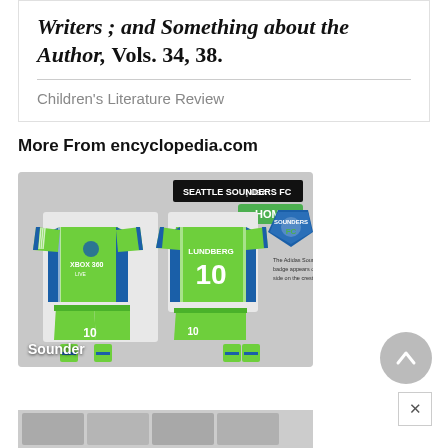Writers ; and Something about the Author, Vols. 34, 38.
Children's Literature Review
More From encyclopedia.com
[Figure (photo): Seattle Sounders FC USA Home kit display showing green jerseys with blue accents, shorts, and socks. Player name LUNDBERG #10 shown on back. Seattle Sounders badge visible. Caption reads 'Sounder'.]
[Figure (photo): Partially visible thumbnail strip at bottom of page showing additional images.]